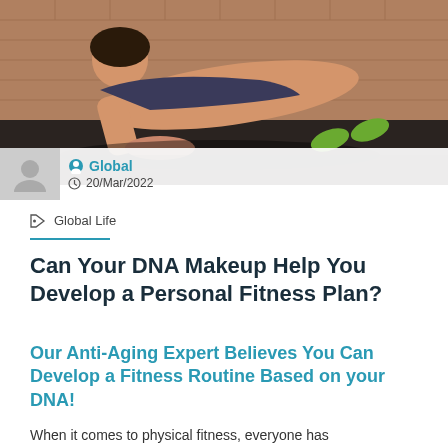[Figure (photo): Woman in athletic wear in a plank position on the floor, viewed from an angle, with a brick wall background in a gym setting]
Global
20/Mar/2022
Global Life
Can Your DNA Makeup Help You Develop a Personal Fitness Plan?
Our Anti-Aging Expert Believes You Can Develop a Fitness Routine Based on your DNA!
When it comes to physical fitness, everyone has